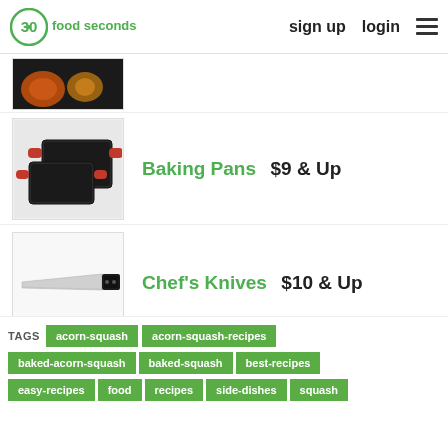30 seconds food — sign up  login  ≡
[Figure (photo): Partially visible product image: pizza and pumpkin dish on dark background]
[Figure (photo): Three dark non-stick baking pans with red silicone handles]
Baking Pans  $9 & Up
[Figure (photo): A chef's knife with black handle on white background]
Chef's Knives  $10 & Up
TAGS  acorn-squash  acorn-squash-recipes  baked-acorn-squash  baked-squash  best-recipes  easy-recipes  food  recipes  side-dishes  squash